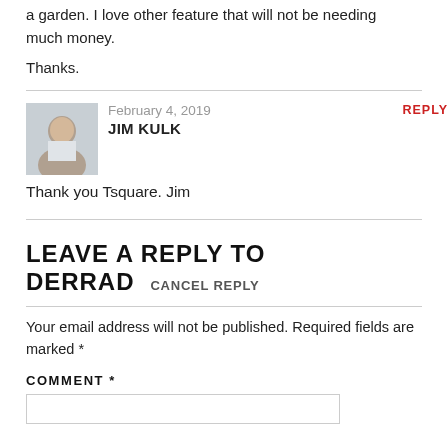a garden. I love other feature that will not be needing much money.
Thanks.
February 4, 2019
JIM KULK
REPLY
Thank you Tsquare. Jim
LEAVE A REPLY TO DERRAD
CANCEL REPLY
Your email address will not be published. Required fields are marked *
COMMENT *